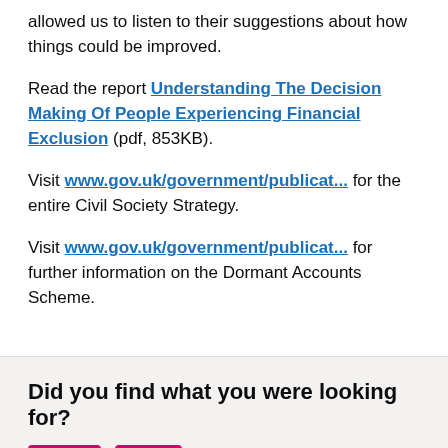allowed us to listen to their suggestions about how things could be improved.
Read the report Understanding The Decision Making Of People Experiencing Financial Exclusion (pdf, 853KB).
Visit www.gov.uk/government/publicat... for the entire Civil Society Strategy.
Visit www.gov.uk/government/publicat... for further information on the Dormant Accounts Scheme.
Did you find what you were looking for?
Yes  No